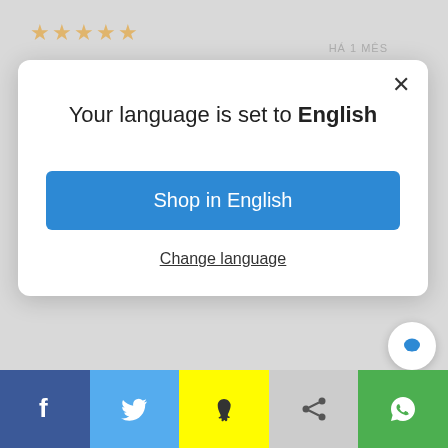★★★★★
HÁ 1 MÊS
Great communication! Shipped safely. Fun items, great addition to collection! Thank you so much!!!
Your language is set to English
Shop in English
Change language